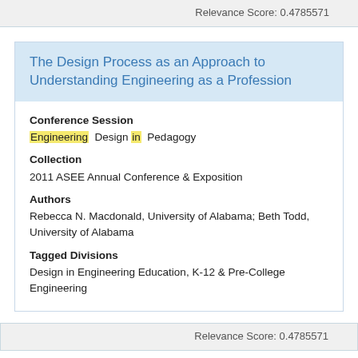Relevance Score: 0.4785571
The Design Process as an Approach to Understanding Engineering as a Profession
Conference Session
Engineering Design in Pedagogy
Collection
2011 ASEE Annual Conference & Exposition
Authors
Rebecca N. Macdonald, University of Alabama; Beth Todd, University of Alabama
Tagged Divisions
Design in Engineering Education, K-12 & Pre-College Engineering
Relevance Score: 0.4785571